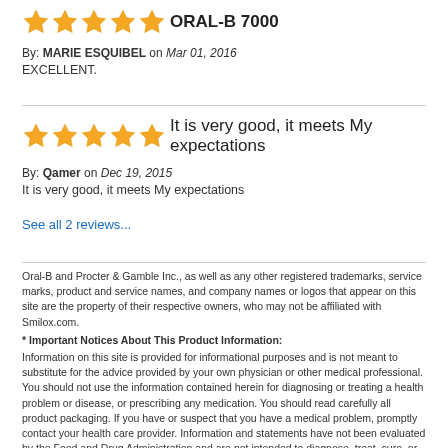ORAL-B 7000
By: MARIE ESQUIBEL on Mar 01, 2016
EXCELLENT.
It is very good, it meets My expectations
By: Qamer on Dec 19, 2015
It is very good, it meets My expectations
See all 2 reviews...
Oral-B and Procter & Gamble Inc., as well as any other registered trademarks, service marks, product and service names, and company names or logos that appear on this site are the property of their respective owners, who may not be affiliated with Smilox.com.
* Important Notices About This Product Information:
Information on this site is provided for informational purposes and is not meant to substitute for the advice provided by your own physician or other medical professional. You should not use the information contained herein for diagnosing or treating a health problem or disease, or prescribing any medication. You should read carefully all product packaging. If you have or suspect that you have a medical problem, promptly contact your health care provider. Information and statements have not been evaluated by the Food and Drug Administration and are not intended to diagnose, treat, cure, or prevent any disease.
Regarding Our Whitening Products: Although these items are brought to you by professional dentists, always check with your dentist and physician before any dental treatment. Do not use these items in place or substitute of any dental treatment. Crowns, caps, fillings, dentures,